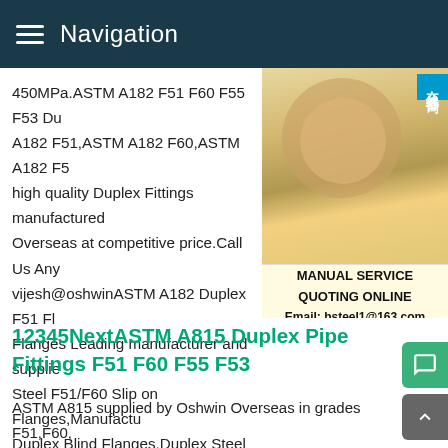Navigation
450MPa.ASTM A182 F51 F60 F55 F53 Du A182 F51,ASTM A182 F60,ASTM A182 F5 high quality Duplex Fittings manufactured Overseas at competitive price.Call Us Any vijesh@oshwinASTM A182 Duplex F51 Fl Flanges Leading manufacturer and supplie Steel F51/F60 Slip on Flanges,Manufactu Duplex Blind Flanges,Duplex Steel F317 T Flanges,Werkstoff No 1.4462 Duplex Sock S31803 Flanges,S31803 Forged Flanges
[Figure (photo): Customer service representative wearing a headset, with a blue 在线咨询 (Online Consultation) badge. Below the photo: MANUAL SERVICE, QUOTING ONLINE, Email: bsteel1@163.com]
12345NextASTM A815 Duplex Pipe Fittings F51 F60 F55 F53
ASTM A815 supplied by Oshwin Overseas in grades F51,F60, F55 is a high quality Duplex Pipe Fittings in all forms sizes at competitive price.Call Us Anytime - +91-22-6610 9683